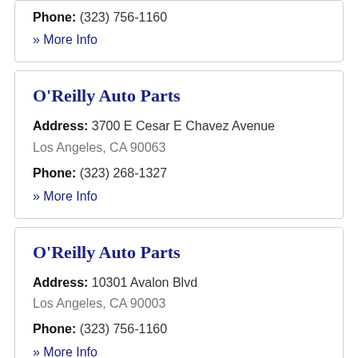Phone: (323) 756-1160
» More Info
O'Reilly Auto Parts
Address: 3700 E Cesar E Chavez Avenue Los Angeles, CA 90063
Phone: (323) 268-1327
» More Info
O'Reilly Auto Parts
Address: 10301 Avalon Blvd Los Angeles, CA 90003
Phone: (323) 756-1160
» More Info